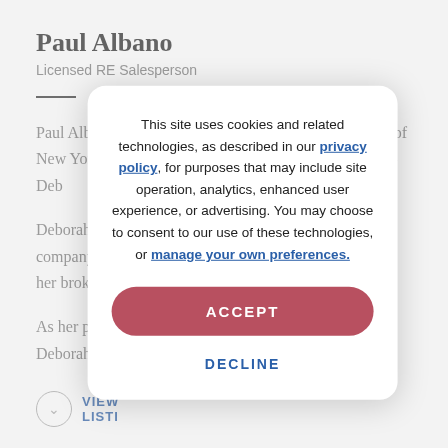Paul Albano
Licensed RE Salesperson
Paul Albano is fortunate to be under the tutelage of one of New York City's finest and successful real estate agent – Deb
Deborah fo company, h her broker a
As her prote Deborah ha
VIEW LISTI
This site uses cookies and related technologies, as described in our privacy policy, for purposes that may include site operation, analytics, enhanced user experience, or advertising. You may choose to consent to our use of these technologies, or manage your own preferences.
ACCEPT
DECLINE